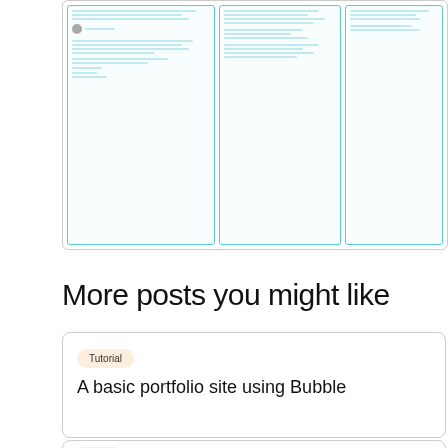[Figure (screenshot): Screenshot showing a blog post or product page with three side-by-side card panels with light blue borders, containing small text and interface elements]
More posts you might like
Tutorial
A basic portfolio site using Bubble
Tutorial
Using Airtable with Glide Apps